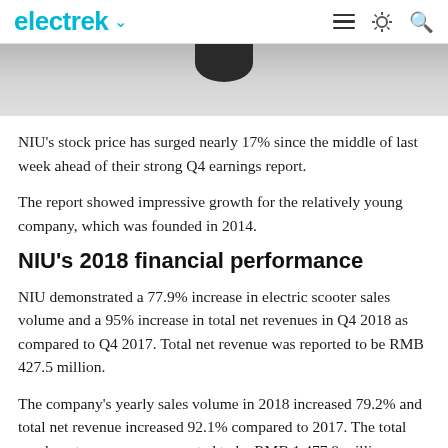electrek
[Figure (photo): Partial image of a scooter or vehicle, showing a dark rounded object against a light grey background]
NIU's stock price has surged nearly 17% since the middle of last week ahead of their strong Q4 earnings report.
The report showed impressive growth for the relatively young company, which was founded in 2014.
NIU's 2018 financial performance
NIU demonstrated a 77.9% increase in electric scooter sales volume and a 95% increase in total net revenues in Q4 2018 as compared to Q4 2017. Total net revenue was reported to be RMB 427.5 million.
The company's yearly sales volume in 2018 increased 79.2% and total net revenue increased 92.1% compared to 2017. The total yearly net revenue was reported to be RMB 1,477.8 million.